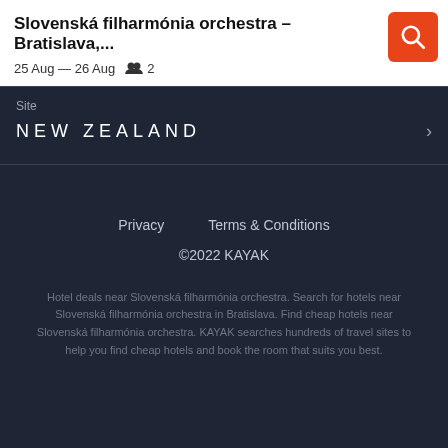Slovenská filharmónia orchestra – Bratislava,...
25 Aug — 26 Aug  👥 2
Site
NEW ZEALAND
Privacy    Terms & Conditions
©2022 KAYAK
Hotel deals near Slovenská filharmónia orchestra. Search for hotels near Slovenská filharmónia orchestra in Bratislava. Find cheap hotels near Slovenská filharmónia orchestra. KAYAK searches hundreds of travel sites to help you find cheap hotels and book the room that suits you best.